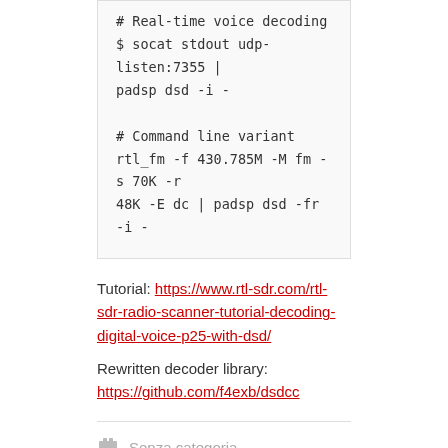# Real-time voice decoding
$ socat stdout udp-listen:7355 | padsp dsd -i -

# Command line variant
rtl_fm -f 430.785M -M fm -s 70K -r 48K -E dc | padsp dsd -fr -i -
Tutorial: https://www.rtl-sdr.com/rtl-sdr-radio-scanner-tutorial-decoding-digital-voice-p25-with-dsd/
Rewritten decoder library: https://github.com/f4exb/dsdcc
Senza categoria
Scrivi un commento